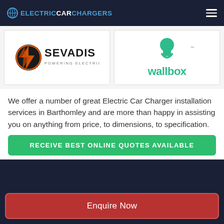ELECTRICCARCHARGERS
[Figure (logo): Sevadis logo — orange/black circular icon with stylized lightning bolts, text SEVADIS POWERING ELECTRIC VEHICLES]
[Figure (logo): Wallbox logo — green icon resembling a charging plug head, text wallbox in green lowercase]
We offer a number of great Electric Car Charger installation services in Barthomley and are more than happy in assisting you on anything from price, to dimensions, to specification.
RECEIVE BEST ONLINE QUOTES AVAILABLE
Enquire Now